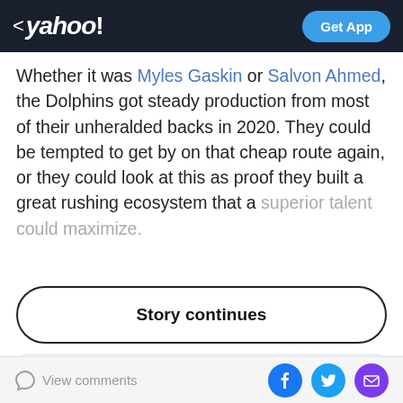< yahoo! | Get App
Whether it was Myles Gaskin or Salvon Ahmed, the Dolphins got steady production from most of their unheralded backs in 2020. They could be tempted to get by on that cheap route again, or they could look at this as proof they built a great rushing ecosystem that a superior talent could maximize.
Story continues
| Money Line | Point Spread | Total Points |
| --- | --- | --- |
View comments